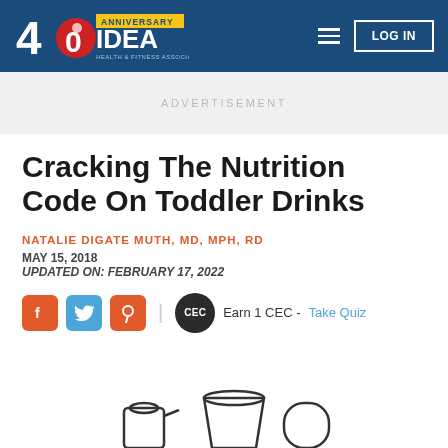IDEA Health & Fitness Association - 40th Anniversary
ADVERTISEMENT
Cracking The Nutrition Code On Toddler Drinks
NATALIE DIGATE MUTH, MD, MPH, RD
MAY 15, 2018
UPDATED ON: FEBRUARY 17, 2022
Earn 1 CEC - Take Quiz
[Figure (illustration): Partial view of toddler drink containers at bottom of page]